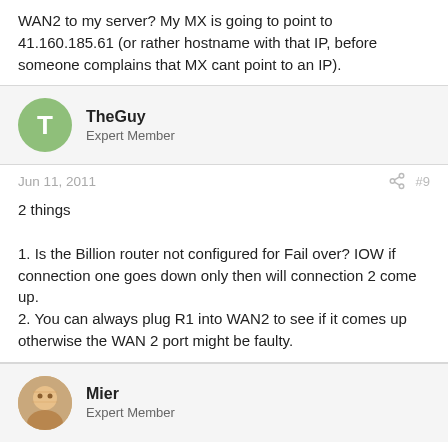WAN2 to my server? My MX is going to point to 41.160.185.61 (or rather hostname with that IP, before someone complains that MX cant point to an IP).
TheGuy
Expert Member
Jun 11, 2011   #9
2 things

1. Is the Billion router not configured for Fail over? IOW if connection one goes down only then will connection 2 come up.
2. You can always plug R1 into WAN2 to see if it comes up otherwise the WAN 2 port might be faulty.
Mier
Expert Member